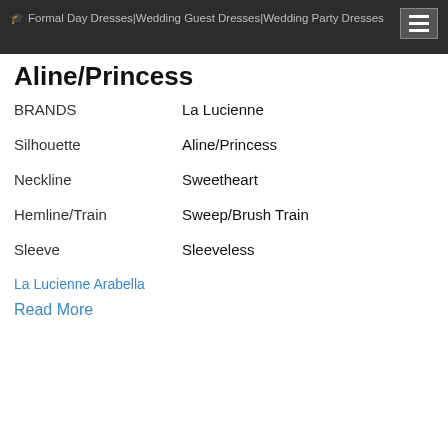Formal Day Dresses|Wedding Guest Dresses|Wedding Party Dresses
Aline/Princess
| BRANDS | La Lucienne |
| Silhouette | Aline/Princess |
| Neckline | Sweetheart |
| Hemline/Train | Sweep/Brush Train |
| Sleeve | Sleeveless |
La Lucienne Arabella
Read More